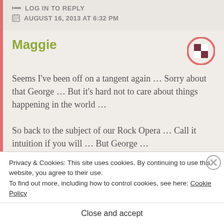LOG IN TO REPLY
AUGUST 16, 2013 AT 6:32 PM
Maggie
[Figure (illustration): Avatar icon: circular badge with pink/salmon border and a square checkered pattern in dark red and white]
Seems I've been off on a tangent again … Sorry about that George … But it's hard not to care about things happening in the world … So back to the subject of our Rock Opera … Call it intuition if you will … But George … Did you know that Johnny Depp is a
Privacy & Cookies: This site uses cookies. By continuing to use this website, you agree to their use. To find out more, including how to control cookies, see here: Cookie Policy
Close and accept